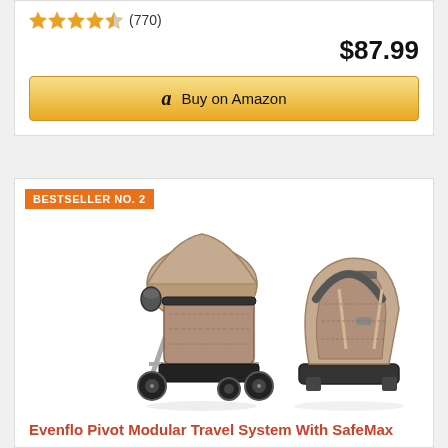★★★★½ (770)
$87.99
Buy on Amazon
BESTSELLER NO. 2
[Figure (photo): Evenflo Pivot Modular Travel System with SafeMax — stroller and infant car seat in tan/beige color]
Evenflo Pivot Modular Travel System With SafeMax